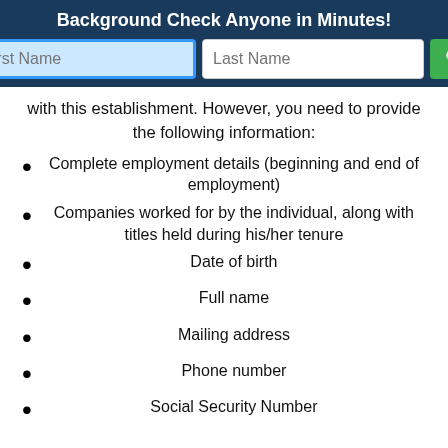Background Check Anyone in Minutes!
with this establishment. However, you need to provide the following information:
Complete employment details (beginning and end of employment)
Companies worked for by the individual, along with titles held during his/her tenure
Date of birth
Full name
Mailing address
Phone number
Social Security Number